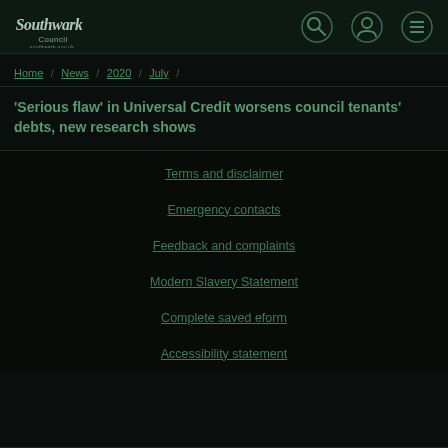Southwark Council — navigation header with search, user, and menu icons
Home / News / 2020 / July /
'Serious flaw' in Universal Credit worsens council tenants' debts, new research shows
Terms and disclaimer
Emergency contacts
Feedback and complaints
Modern Slavery Statement
Complete saved eform
Accessibility statement